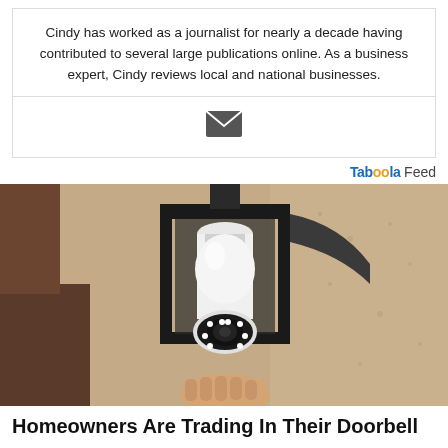Cindy has worked as a journalist for nearly a decade having contributed to several large publications online. As a business expert, Cindy reviews local and national businesses.
[Figure (other): Email/envelope icon in dark gray]
Taboola Feed
[Figure (photo): Photo of a security camera shaped like a light bulb installed inside a black outdoor lantern fixture mounted on a textured stucco wall]
Homeowners Are Trading In Their Doorbell